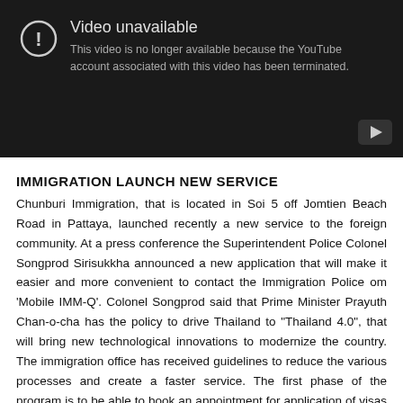[Figure (screenshot): YouTube video unavailable placeholder. Dark background with warning icon circle, title 'Video unavailable', message 'This video is no longer available because the YouTube account associated with this video has been terminated.' Play button in bottom right corner.]
IMMIGRATION LAUNCH NEW SERVICE
Chunburi Immigration, that is located in Soi 5 off Jomtien Beach Road in Pattaya, launched recently a new service to the foreign community. At a press conference the Superintendent Police Colonel Songprod Sirisukkha announced a new application that will make it easier and more convenient to contact the Immigration Police om 'Mobile IMM-Q'. Colonel Songprod said that Prime Minister Prayuth Chan-o-cha has the policy to drive Thailand to "Thailand 4.0", that will bring new technological innovations to modernize the country. The immigration office has received guidelines to reduce the various processes and create a faster service. The first phase of the program is to be able to book an appointment for application of visas to stay in